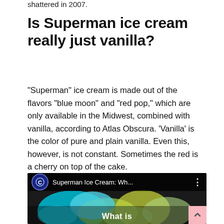shattered in 2007.
Is Superman ice cream really just vanilla?
“Superman” ice cream is made out of the flavors “blue moon” and “red pop,” which are only available in the Midwest, combined with vanilla, according to Atlas Obscura. ‘Vanilla’ is the color of pure and plain vanilla. Even this, however, is not constant. Sometimes the red is a cherry on top of the cake.
[Figure (screenshot): Video thumbnail showing Superman Ice Cream: Wh... with a copyright icon and colorful ice cream background]